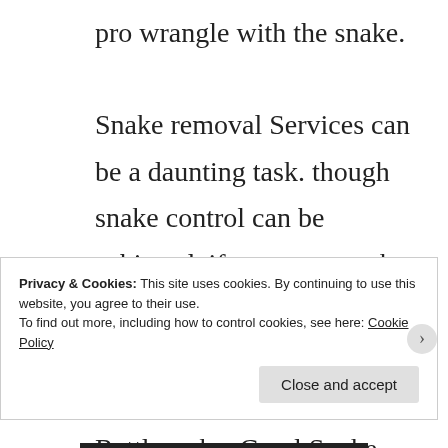pro wrangle with the snake. Snake removal Services can be a daunting task. though snake control can be achieved, if you get a snake removal expert in snake control to help you out. From garter snake, garden snake, Rattlesnake, Coral Snake, Water Moccasin, King Snakes, Corn
Privacy & Cookies: This site uses cookies. By continuing to use this website, you agree to their use.
To find out more, including how to control cookies, see here: Cookie Policy
Close and accept